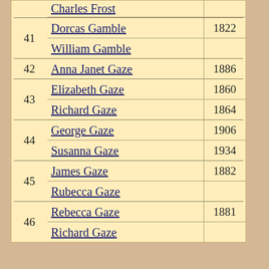| # | Name | Year |
| --- | --- | --- |
|  | Charles Frost |  |
| 41 | Dorcas Gamble | 1822 |
|  | William Gamble |  |
| 42 | Anna Janet Gaze | 1886 |
| 43 | Elizabeth Gaze | 1860 |
|  | Richard Gaze | 1864 |
| 44 | George Gaze | 1906 |
|  | Susanna Gaze | 1934 |
| 45 | James Gaze | 1882 |
|  | Rubecca Gaze |  |
| 46 | Rebecca Gaze | 1881 |
|  | Richard Gaze |  |